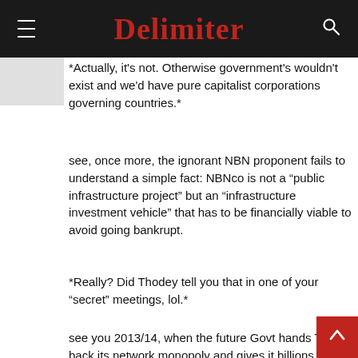Delimiter
*Actually, it's not. Otherwise government's wouldn't exist and we'd have pure capitalist corporations governing countries.*
see, once more, the ignorant NBN proponent fails to understand a simple fact: NBNco is not a “public infrastructure project” but an “infrastructure investment vehicle” that has to be financially viable to avoid going bankrupt.
*Really? Did Thodey tell you that in one of your “secret” meetings, lol.*
see you 2013/14, when the future Govt hands Telstra back its network monopoly and gives it billions of dollars in subsidies to build FTTN.
*Telstra can always be counted on to look after Telstra.*